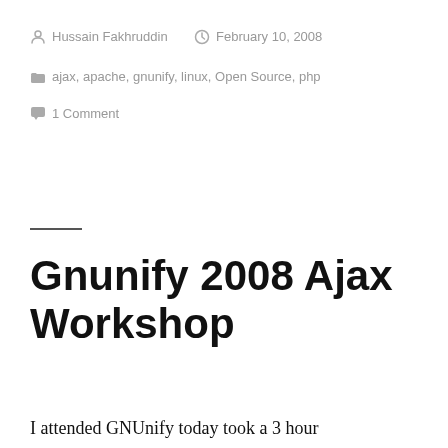By Hussain Fakhruddin   February 10, 2008
ajax, apache, gnunify, linux, Open Source, php
1 Comment
Gnunify 2008 Ajax Workshop
I attended GNUnify today took a 3 hour